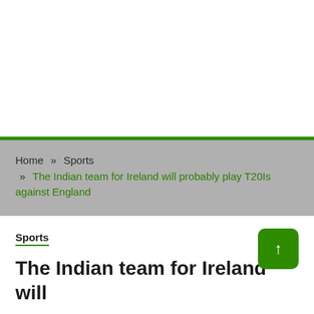Home » Sports » The Indian team for Ireland will probably play T20Is against England
Sports
The Indian team for Ireland will probably play T20Is against England